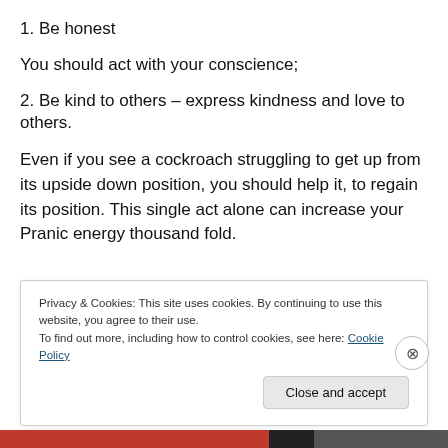1. Be honest
You should act with your conscience;
2. Be kind to others – express kindness and love to others.
Even if you see a cockroach struggling to get up from its upside down position, you should help it, to regain its position. This single act alone can increase your Pranic energy thousand fold.
Privacy & Cookies: This site uses cookies. By continuing to use this website, you agree to their use.
To find out more, including how to control cookies, see here: Cookie Policy